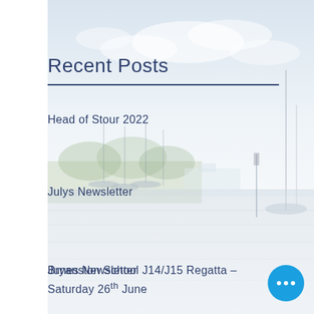[Figure (photo): Background photo of a marina/harbour with sailboats moored on calm water, trees in the background, and a pale blue sky with clouds. The image has a light, washed-out appearance serving as a background.]
Recent Posts
Head of Stour 2022
Julys Newsletter
Junes Newsletter
Bryanston School J14/J15 Regatta – Saturday 26th June